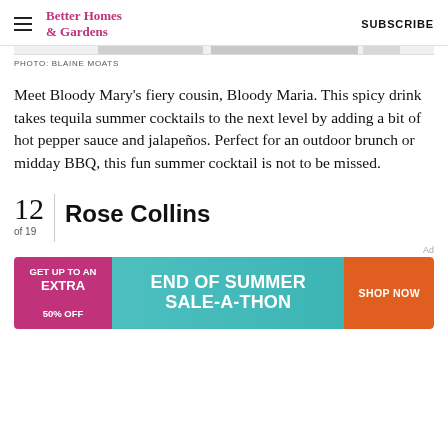Better Homes & Gardens   SUBSCRIBE
PHOTO: BLAINE MOATS
Meet Bloody Mary's fiery cousin, Bloody Maria. This spicy drink takes tequila summer cocktails to the next level by adding a bit of hot pepper sauce and jalapeños. Perfect for an outdoor brunch or midday BBQ, this fun summer cocktail is not to be missed.
12 of 19  Rose Collins
[Figure (other): Advertisement banner: GET UP TO AN EXTRA 50% OFF — END OF SUMMER SALE-A-THON — SHOP NOW]